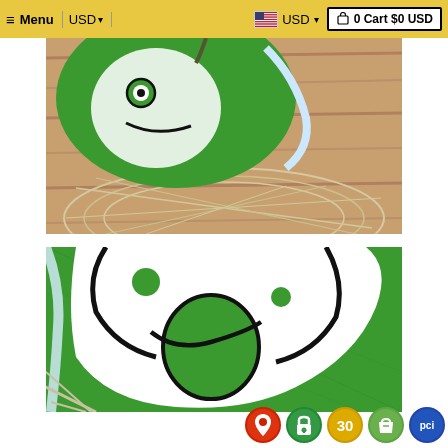Menu | USD | USD | 0 Cart $0 USD
[Figure (photo): Close-up photo of a green cartoon avocado character bib on a wooden surface with a decorative lace/rope mat underneath]
[Figure (photo): Close-up detail photo of a green and white printed baby bib showing a cartoon avocado face design with black outlines on green fabric]
[Figure (infographic): Row of five trust/security badge icons: red map pin badge, green lock/security badge, yellow 30-day badge, green Shopify bag badge, and blue PCI badge]